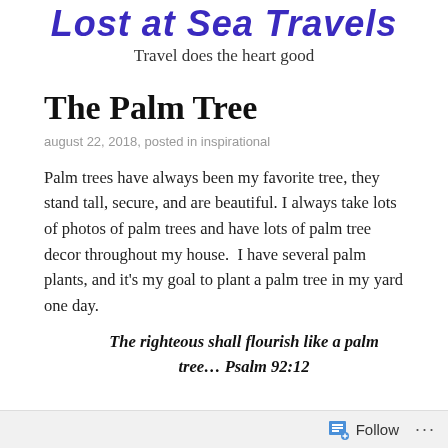Lost at Sea Travels
Travel does the heart good
The Palm Tree
august 22, 2018, posted in inspirational
Palm trees have always been my favorite tree, they stand tall, secure, and are beautiful. I always take lots of photos of palm trees and have lots of palm tree decor throughout my house.  I have several palm plants, and it's my goal to plant a palm tree in my yard one day.
The righteous shall flourish like a palm tree… Psalm 92:12
Follow